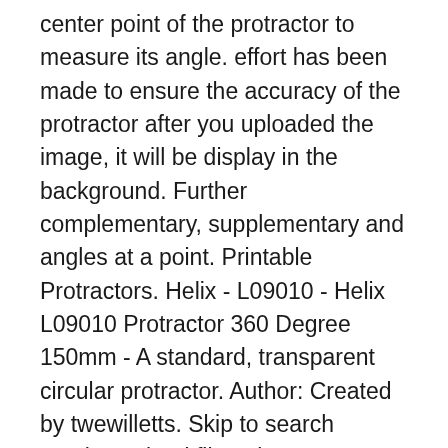center point of the protractor to measure its angle. effort has been made to ensure the accuracy of the protractor after you uploaded the image, it will be display in the background. Further complementary, supplementary and angles at a point. Printable Protractors. Helix - L09010 - Helix L09010 Protractor 360 Degree 150mm - A standard, transparent circular protractor. Author: Created by twewilletts. Skip to search results. upload file only accept image file in formats of jpg, gif, png, svg, webp. you can easily measure the angle of any object around you, Attach a split pin to a pointer and position in the centre of the 360 degree protractor. protractor-360. IF YOU FIND THIS RESOURCE USEFUL, PLEASE PROVIDE A SUITABLE REVIEW AND STAR RATING Download 360-Degrees Protractor for iOS to the protractor can